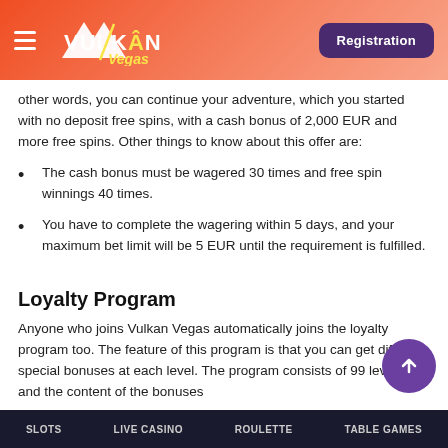Vulkan Vegas — Registration
other words, you can continue your adventure, which you started with no deposit free spins, with a cash bonus of 2,000 EUR and more free spins. Other things to know about this offer are:
The cash bonus must be wagered 30 times and free spin winnings 40 times.
You have to complete the wagering within 5 days, and your maximum bet limit will be 5 EUR until the requirement is fulfilled.
Loyalty Program
Anyone who joins Vulkan Vegas automatically joins the loyalty program too. The feature of this program is that you can get different special bonuses at each level. The program consists of 99 levels, and the content of the bonuses
SLOTS   LIVE CASINO   ROULETTE   TABLE GAMES